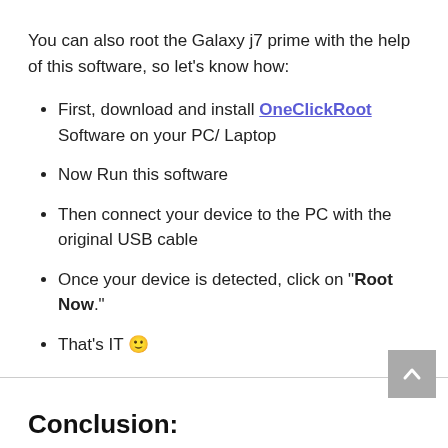You can also root the Galaxy j7 prime with the help of this software, so let's know how:
First, download and install OneClickRoot Software on your PC/ Laptop
Now Run this software
Then connect your device to the PC with the original USB cable
Once your device is detected, click on "Root Now."
That's IT 🙂
Conclusion: